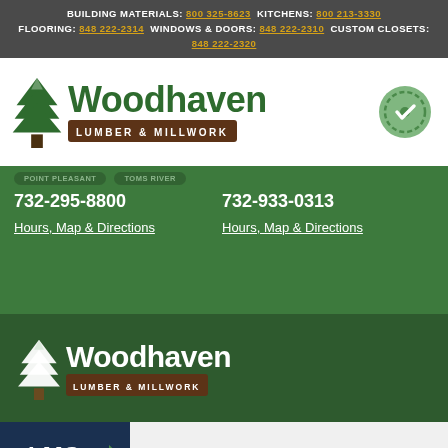BUILDING MATERIALS: 800 325-8623  KITCHENS: 800 213-3330  FLOORING: 848 222-2314  WINDOWS & DOORS: 848 222-2310  CUSTOM CLOSETS: 848 222-2320
[Figure (logo): Woodhaven Lumber & Millwork logo with green tree icon and brown subtitle bar]
732-295-8800
Hours, Map & Directions
732-933-0313
Hours, Map & Directions
[Figure (logo): Woodhaven Lumber & Millwork footer logo in white on dark green background]
[Figure (logo): LMC Network logo with TOGETHER WE BUILD tagline]